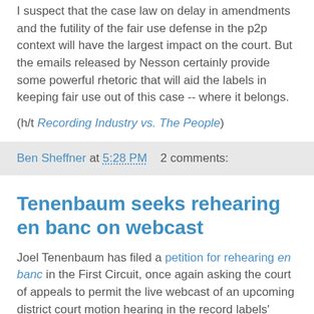I suspect that the case law on delay in amendments and the futility of the fair use defense in the p2p context will have the largest impact on the court. But the emails released by Nesson certainly provide some powerful rhetoric that will aid the labels in keeping fair use out of this case -- where it belongs.
(h/t Recording Industry vs. The People)
Ben Sheffner at 5:28 PM   2 comments:
Tenenbaum seeks rehearing en banc on webcast
Joel Tenenbaum has filed a petition for rehearing en banc in the First Circuit, once again asking the court of appeals to permit the live webcast of an upcoming district court motion hearing in the record labels' copyright suit against him. The move follows the First Circuit's April 16 decision holding that District Judge Nancy Gertner lacked the authority under the